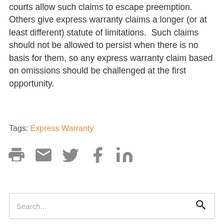courts allow such claims to escape preemption. Others give express warranty claims a longer (or at least different) statute of limitations.  Such claims should not be allowed to persist when there is no basis for them, so any express warranty claim based on omissions should be challenged at the first opportunity.
Tags: Express Warranty
[Figure (other): Social sharing icons row: print, email, Twitter, Facebook, LinkedIn]
Search...